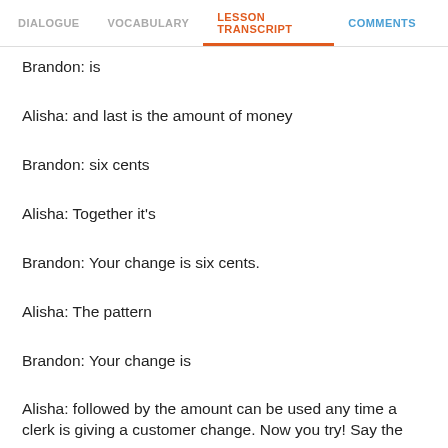DIALOGUE | VOCABULARY | LESSON TRANSCRIPT | COMMENTS
Brandon: is
Alisha: and last is the amount of money
Brandon: six cents
Alisha: Together it's
Brandon: Your change is six cents.
Alisha: The pattern
Brandon: Your change is
Alisha: followed by the amount can be used any time a clerk is giving a customer change. Now you try! Say the